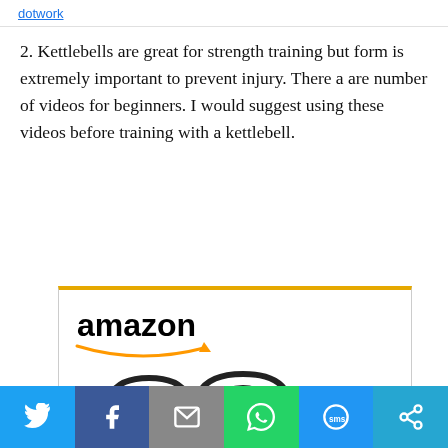dotwork
2. Kettlebells are great for strength training but form is extremely important to prevent injury. There a are number of videos for beginners. I would suggest using these videos before training with a kettlebell.
[Figure (screenshot): Amazon product listing showing three kettlebells labeled 10, 5, and 15 lbs with the Amazon logo and orange arrow at top, and a partial 'BalanceFrom' link at the bottom.]
3. A Stability Ball provides equipment that introduces instability to your workout regimen and it is another
Social share bar: Twitter, Facebook, Email, WhatsApp, SMS, Share